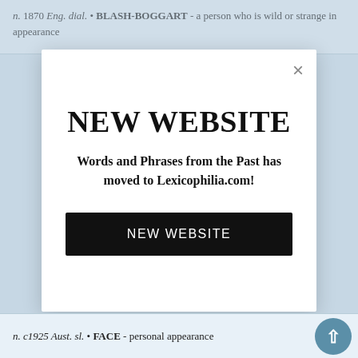n. 1870 Eng. dial. • BLASH-BOGGART - a person who is wild or strange in appearance
NEW WEBSITE
Words and Phrases from the Past has moved to Lexicophilia.com!
NEW WEBSITE
n. c1925 Aust. sl. • FACE - personal appearance